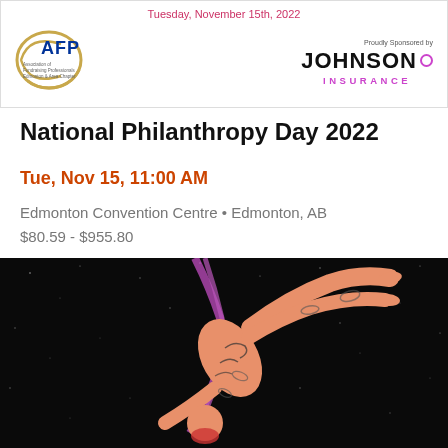Tuesday, November 15th, 2022
[Figure (logo): AFP Association of Fundraising Professionals Edmonton & Area Chapter logo with arc design]
[Figure (logo): Proudly Sponsored by Johnson Insurance logo with purple circle]
National Philanthropy Day 2022
Tue, Nov 15, 11:00 AM
Edmonton Convention Centre • Edmonton, AB
$80.59 - $955.80
[Figure (photo): Aerial acrobat performer in body paint costume doing a backbend on aerial silks against a dark starry background]